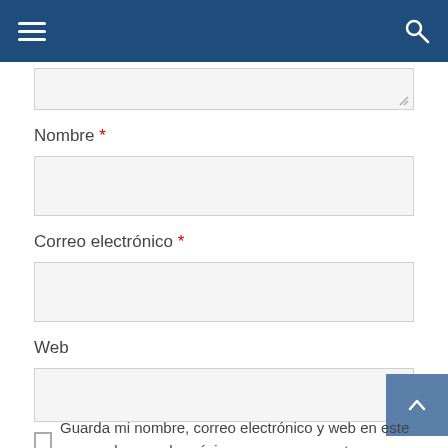Navigation header with hamburger menu and search icon
Nombre *
Correo electrónico *
Web
Guarda mi nombre, correo electrónico y web en este navegador para la próxima vez que comente.